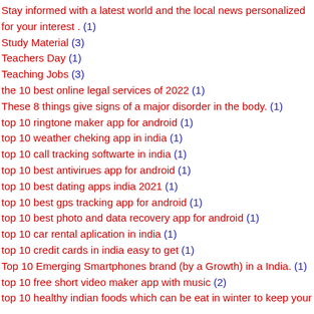Stay informed with a latest world and the local news personalized for your interest . (1)
Study Material (3)
Teachers Day (1)
Teaching Jobs (3)
the 10 best online legal services of 2022 (1)
These 8 things give signs of a major disorder in the body. (1)
top 10 ringtone maker app for android (1)
top 10 weather cheking app in india (1)
top 10 call tracking softwarte in india (1)
top 10 best antivirues app for android (1)
top 10 best dating apps india 2021 (1)
top 10 best gps tracking app for android (1)
top 10 best photo and data recovery app for android (1)
top 10 car rental aplication in india (1)
top 10 credit cards in india easy to get (1)
Top 10 Emerging Smartphones brand (by a Growth) in a India. (1)
top 10 free short video maker app with music (2)
top 10 healthy indian foods which can be eat in winter to keep your